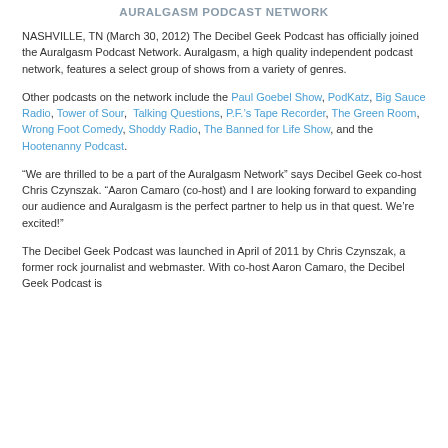AURALGASM PODCAST NETWORK
NASHVILLE, TN (March 30, 2012) The Decibel Geek Podcast has officially joined the Auralgasm Podcast Network. Auralgasm, a high quality independent podcast network, features a select group of shows from a variety of genres.
Other podcasts on the network include the Paul Goebel Show, PodKatz, Big Sauce Radio, Tower of Sour, Talking Questions, P.F.’s Tape Recorder, The Green Room, Wrong Foot Comedy, Shoddy Radio, The Banned for Life Show, and the Hootenanny Podcast.
“We are thrilled to be a part of the Auralgasm Network” says Decibel Geek co-host Chris Czynszak. “Aaron Camaro (co-host) and I are looking forward to expanding our audience and Auralgasm is the perfect partner to help us in that quest. We’re excited!”
The Decibel Geek Podcast was launched in April of 2011 by Chris Czynszak, a former rock journalist and webmaster. With co-host Aaron Camaro, the Decibel Geek Podcast is...